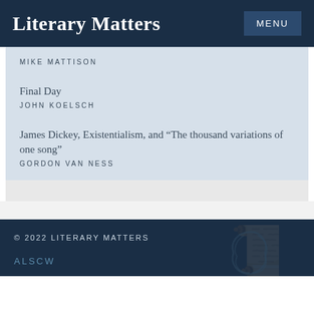Literary Matters
MIKE MATTISON
Final Day
JOHN KOELSCH
James Dickey, Existentialism, and “The thousand variations of one song”
GORDON VAN NESS
© 2022 LITERARY MATTERS
ALSCW